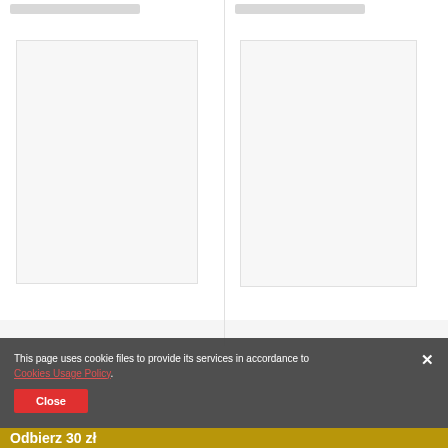[Figure (screenshot): Web page screenshot showing two product card placeholders side by side with gray placeholder bars at top, white content areas with light gray inner boxes, and a dark gray cookie consent banner overlay at the bottom. The banner contains white text about cookie usage policy, a red link to 'Cookies Usage Policy', a red 'Close' button, and an X close icon. Below is a yellow/gold banner with white bold text 'Odbierz 30 zł'.]
This page uses cookie files to provide its services in accordance to Cookies Usage Policy.
Close
Odbierz 30 zł